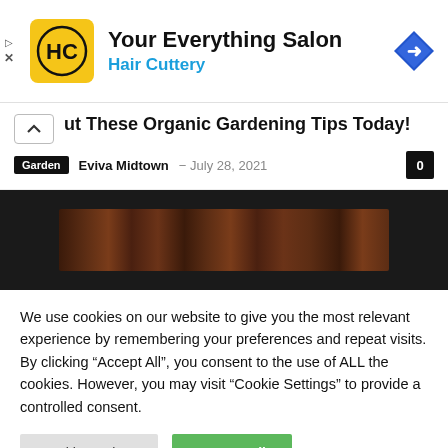[Figure (illustration): Hair Cuttery advertisement banner with yellow HC logo, text 'Your Everything Salon Hair Cuttery', and a blue navigation diamond icon on the right. Small play and X icons on the left edge.]
ut These Organic Gardening Tips Today!
Garden  Eviva Midtown  −  July 28, 2021  0
[Figure (photo): Dark background with a brown wood texture/bark image in the center]
We use cookies on our website to give you the most relevant experience by remembering your preferences and repeat visits. By clicking "Accept All", you consent to the use of ALL the cookies. However, you may visit "Cookie Settings" to provide a controlled consent.
Cookie Settings   Accept All